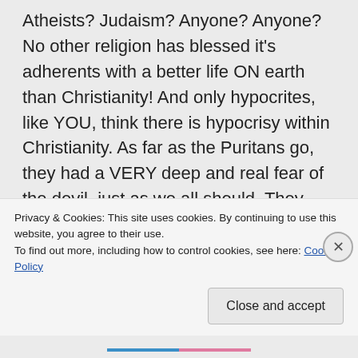Atheists? Judaism? Anyone? Anyone? No other religion has blessed it's adherents with a better life ON earth than Christianity! And only hypocrites, like YOU, think there is hypocrisy within Christianity. As far as the Puritans go, they had a VERY deep and real fear of the devil, just as we all should. They vehemently opposed people who brought evil into their midst, sick
Privacy & Cookies: This site uses cookies. By continuing to use this website, you agree to their use.
To find out more, including how to control cookies, see here: Cookie Policy